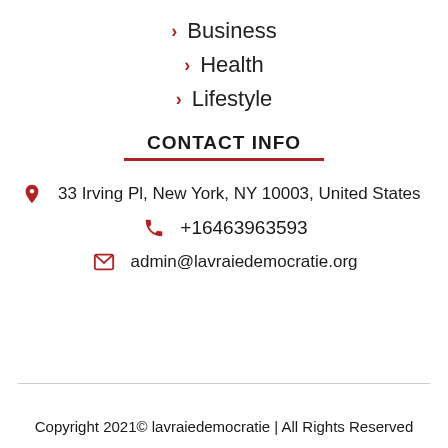Business
Health
Lifestyle
CONTACT INFO
33 Irving Pl, New York, NY 10003, United States
+16463963593
admin@lavraiedemocratie.org
Copyright 2021© lavraiedemocratie | All Rights Reserved